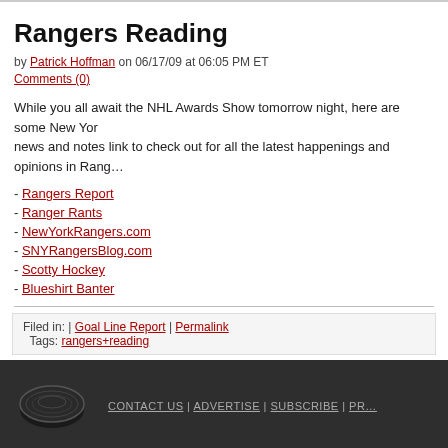Rangers Reading
by Patrick Hoffman on 06/17/09 at 06:05 PM ET
Comments (0)
While you all await the NHL Awards Show tomorrow night, here are some New Yor… news and notes link to check out for all the latest happenings and opinions in Rang…
- Rangers Report
- Ranger Rants
- NewYorkRangers.com
- SNYRangersBlog.com
- Scotty Hockey
- Blueshirt Banter
Filed in: | Goal Line Report | Permalink
Tags: rangers+reading
1 2 > Next »
CONTACT US | ADVERTISE | SUBSCRIBE | PR…